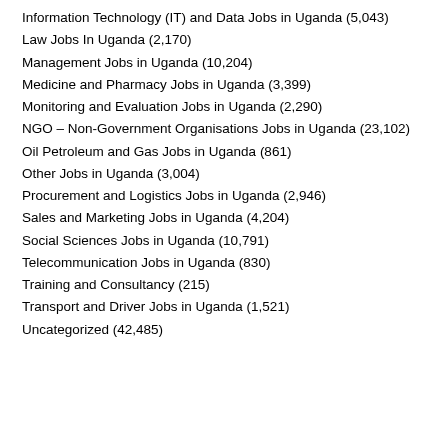Information Technology (IT) and Data Jobs in Uganda (5,043)
Law Jobs In Uganda (2,170)
Management Jobs in Uganda (10,204)
Medicine and Pharmacy Jobs in Uganda (3,399)
Monitoring and Evaluation Jobs in Uganda (2,290)
NGO – Non-Government Organisations Jobs in Uganda (23,102)
Oil Petroleum and Gas Jobs in Uganda (861)
Other Jobs in Uganda (3,004)
Procurement and Logistics Jobs in Uganda (2,946)
Sales and Marketing Jobs in Uganda (4,204)
Social Sciences Jobs in Uganda (10,791)
Telecommunication Jobs in Uganda (830)
Training and Consultancy (215)
Transport and Driver Jobs in Uganda (1,521)
Uncategorized (42,485)